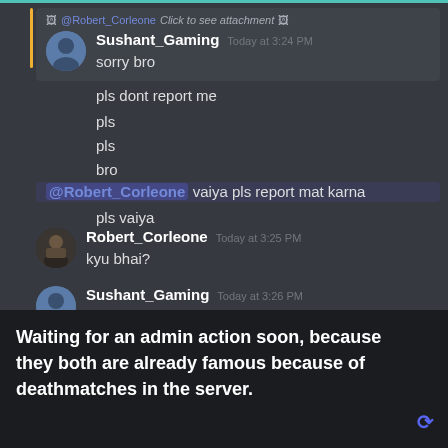[Figure (screenshot): Discord chat screenshot showing conversation between Sushant_Gaming and Robert_Corleone. Sushant_Gaming begs Robert_Corleone not to report him, saying 'sorry bro', 'pls dont report me', 'pls', 'pls', 'bro', '@Robert_Corleone vaiya pls report mat karna', 'pls vaiya'. Robert_Corleone asks 'kyu bhai?'. Sushant_Gaming replies 'tuje laga me yesa bolunga', 'ja jo karsakta he kar', 'nub'.]
Waiting for an admin action soon, because they both are already famous because of deathmatches in the server.